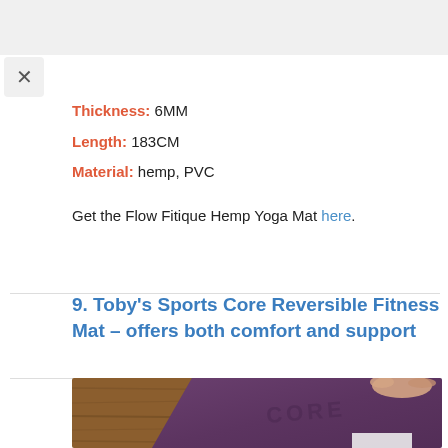Thickness: 6MM
Length: 183CM
Material: hemp, PVC
Get the Flow Fitique Hemp Yoga Mat here.
9. Toby's Sports Core Reversible Fitness Mat – offers both comfort and support
[Figure (photo): A purple reversible fitness/yoga mat unrolling on a wooden floor, with a hand visible holding the edge. The mat shows embossed text reading 'CORE'. A white paper or card is visible at the bottom right corner.]